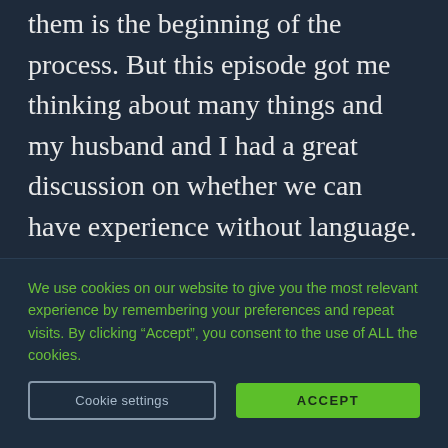them is the beginning of the process. But this episode got me thinking about many things and my husband and I had a great discussion on whether we can have experience without language. I also thought about the dissociations happening now in education. For example, many of
We use cookies on our website to give you the most relevant experience by remembering your preferences and repeat visits. By clicking “Accept”, you consent to the use of ALL the cookies.